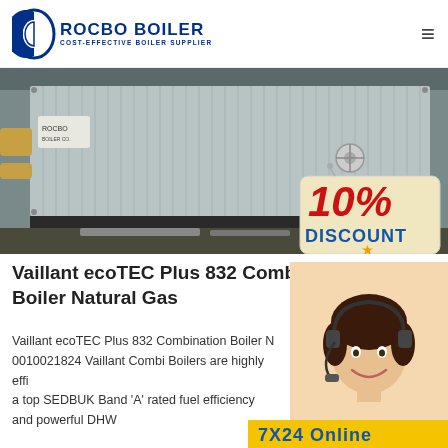ROCBO BOILER — COST-EFFECTIVE BOILER SUPPLIER
[Figure (photo): Large industrial boiler unit with corrugated metal casing in a factory setting, with a 10% DISCOUNT badge overlay in the bottom right corner]
Vaillant ecoTEC Plus 832 Combination Boiler Natural Gas
Vaillant ecoTEC Plus 832 Combination Boiler N... 0010021824 Vaillant Combi Boilers are highly effi... a top SEDBUK Band 'A' rated fuel efficiency and powerful DHW
[Figure (photo): Customer service representative with headset smiling, partially overlapping the text area on the right side]
[Figure (illustration): 7X24 Online badge/button in yellow and blue at the bottom right]